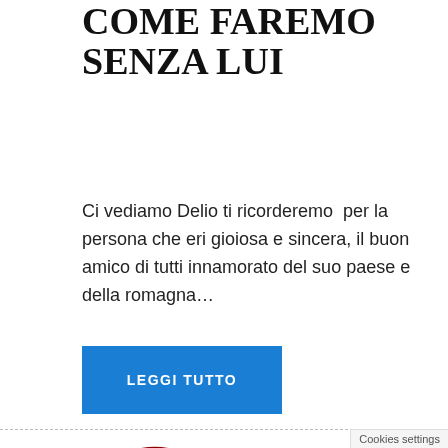COME FAREMO SENZA LUI
Ci vediamo Delio ti ricorderemo  per la persona che eri gioiosa e sincera, il buon amico di tutti innamorato del suo paese e della romagna…
LEGGI TUTTO
[Figure (illustration): A red stamp/badge image with text 'COMUNICATO STAMPA']
05/03/2020
DIRIGENZE
[Figure (photo): Photo with text overlay reading 'VORREI DIRE AL PO CHE CON SALVINI È STATO SOLO SESSO.']
30/08/2019
SALVINI - DI MAIO: E S SOLO SESSO...
Cookies settings